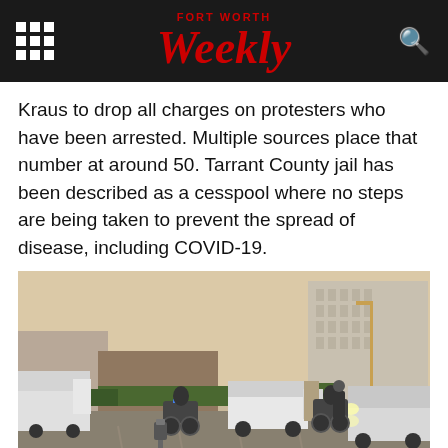FORT WORTH Weekly
Kraus to drop all charges on protesters who have been arrested. Multiple sources place that number at around 50. Tarrant County jail has been described as a cesspool where no steps are being taken to prevent the spread of disease, including COVID-19.
[Figure (photo): Parking lot scene with police motorcycles, a white van, and an SUV with headlights on. Buildings visible in background including a tall multi-story structure. A parking meter is visible in the foreground.]